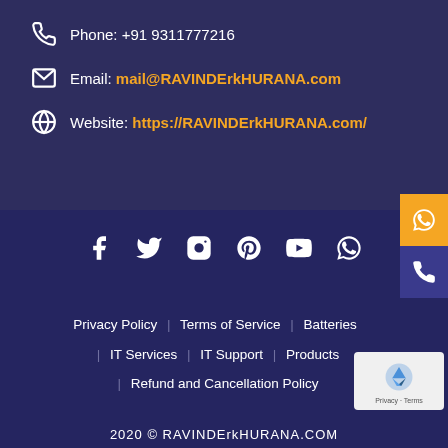Phone: +91 9311777216
Email: mail@RAVINDErkHURANA.com
Website: https://RAVINDErkHURANA.com/
[Figure (infographic): Social media icons row: Facebook, Twitter, Instagram, Pinterest, YouTube, WhatsApp]
Privacy Policy | Terms of Service | Batteries | IT Services | IT Support | Products | Refund and Cancellation Policy
2020 © RAVINDErkHURANA.COM